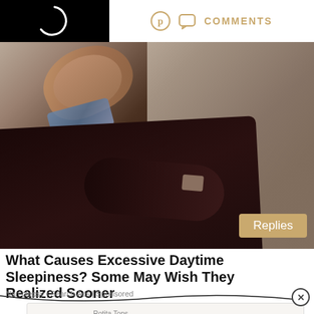[Figure (screenshot): Top bar with black video thumbnail showing loading spinner on left, and Pinterest icon, comment bubble icon, and COMMENTS label on right in gold/tan color]
[Figure (photo): Elderly man sleeping in a chair with arms crossed, wearing dark sweater and plaid shirt, leaning against beige upholstered chair. 'Replies' badge in gold at bottom right.]
What Causes Excessive Daytime Sleepiness? Some May Wish They Realized Sooner
Narcolepsy | Search Ads | Sponsored
[Figure (screenshot): Ad strip for Rotita Tops: logo on left reading 'ROTITA' with X and play icons, text '30 Days Easy Return & Exchange' with 'Rotita Tops' above, and black 'Open' button on right]